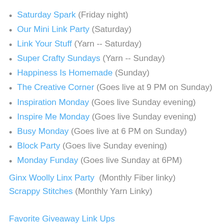Saturday Spark (Friday night)
Our Mini Link Party (Saturday)
Link Your Stuff (Yarn -- Saturday)
Super Crafty Sundays (Yarn -- Sunday)
Happiness Is Homemade (Sunday)
The Creative Corner (Goes live at 9 PM on Sunday)
Inspiration Monday (Goes live Sunday evening)
Inspire Me Monday (Goes live Sunday evening)
Busy Monday (Goes live at 6 PM on Sunday)
Block Party (Goes live Sunday evening)
Monday Funday (Goes live Sunday at 6PM)
Ginx Woolly Linx Party  (Monthly Fiber linky)
Scrappy Stitches (Monthly Yarn Linky)
Favorite Giveaway Link Ups
More giveaway